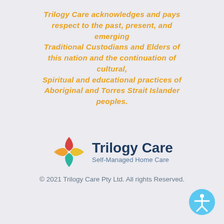Trilogy Care acknowledges and pays respect to the past, present, and emerging Traditional Custodians and Elders of this nation and the continuation of cultural, Spiritual and educational practices of Aboriginal and Torres Strait Islander peoples.
[Figure (logo): Trilogy Care logo with a four-petal diamond shape in red, orange, teal, and yellow/green, next to the text 'Trilogy Care' in dark navy bold font, and 'Self-Managed Home Care' in grey below.]
© 2021 Trilogy Care Pty Ltd. All rights Reserved.
[Figure (illustration): A light blue circular accessibility icon showing a stick figure person with arms outstretched.]